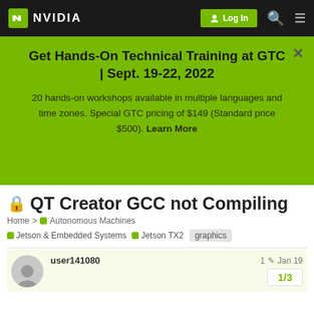[Figure (screenshot): NVIDIA navigation bar with logo, Log In button, search icon, and menu icon]
Get Hands-On Technical Training at GTC | Sept. 19-22, 2022
20 hands-on workshops available in multiple languages and time zones. Special GTC pricing of $149 (Standard price $500). Learn More
QT Creator GCC not Compiling
Home > Autonomous Machines
Jetson & Embedded Systems  Jetson TX2  graphics
user141080  1  Jan 19